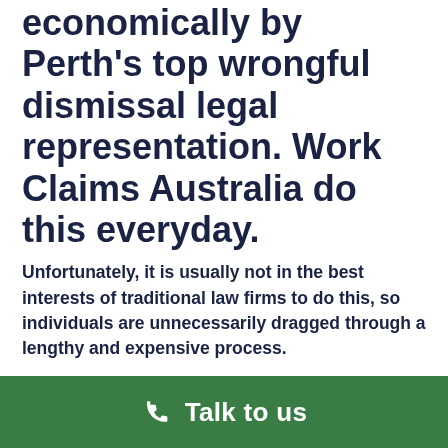economically by Perth's top wrongful dismissal legal representation. Work Claims Australia do this everyday.
Unfortunately, it is usually not in the best interests of traditional law firms to do this, so individuals are unnecessarily dragged through a lengthy and expensive process.
NOTE: You have less than 21 days to act if you think you have been unfairly dismissed from your job – That's not long. Do not delay!
Work claims Australia are registered industrial agents
Talk to us